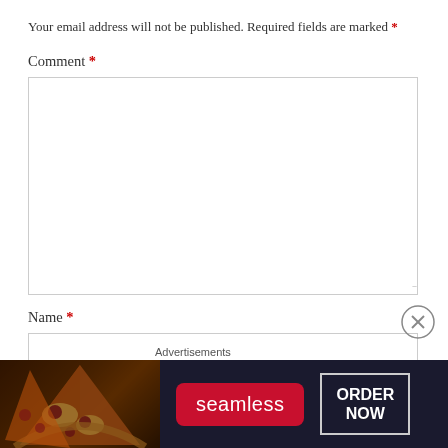Your email address will not be published. Required fields are marked *
Comment *
[Figure (screenshot): Empty comment textarea input box with resize handle in bottom right corner]
Name *
[Figure (screenshot): Empty name text input box]
Email *
[Figure (screenshot): Seamless food delivery advertisement banner with pizza image, Seamless logo in red, and ORDER NOW button]